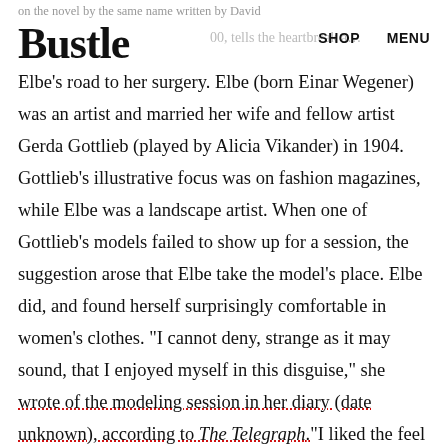on the novel by the same name written by David
Bustle
SHOP   MENU
Elbe's road to her surgery. Elbe (born Einar Wegener) was an artist and married her wife and fellow artist Gerda Gottlieb (played by Alicia Vikander) in 1904. Gottlieb's illustrative focus was on fashion magazines, while Elbe was a landscape artist. When one of Gottlieb's models failed to show up for a session, the suggestion arose that Elbe take the model's place. Elbe did, and found herself surprisingly comfortable in women's clothes. "I cannot deny, strange as it may sound, that I enjoyed myself in this disguise," she wrote of the modeling session in her diary (date unknown), according to The Telegraph."I liked the feel of soft women's clothing… I felt very much at